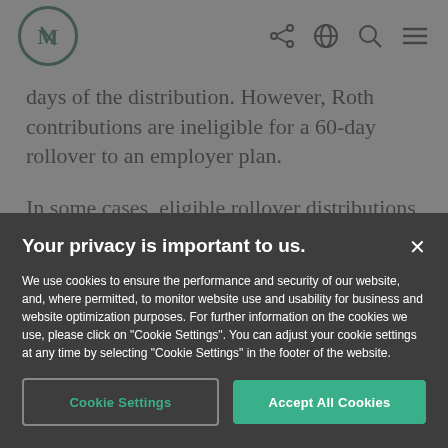M logo and navigation icons (share, globe, search, menu)
days of the distribution. However, Roth contributions are ineligible for a 60-day rollover to an employer plan.
In some cases, eligible rollover distributions
Your privacy is important to us.
We use cookies to ensure the performance and security of our website, and, where permitted, to monitor website use and usability for business and website optimization purposes. For further information on the cookies we use, please click on "Cookie Settings". You can adjust your cookie settings at any time by selecting "Cookie Settings" in the footer of the website.
Cookie Settings  Accept All Cookies